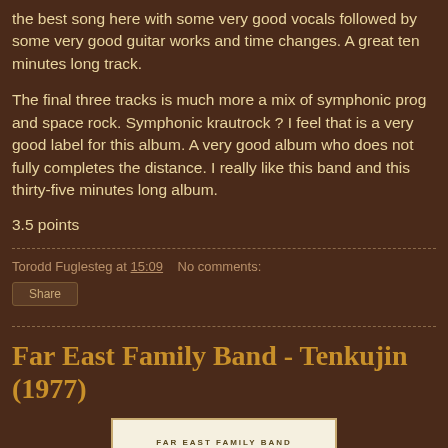the best song here with some very good vocals followed by some very good guitar works and time changes. A great ten minutes long track.
The final three tracks is much more a mix of symphonic prog and space rock. Symphonic krautrock ? I feel that is a very good label for this album. A very good album who does not fully completes the distance. I really like this band and this thirty-five minutes long album.
3.5 points
Torodd Fuglesteg at 15:09   No comments:
Share
Far East Family Band - Tenkujin (1977)
[Figure (photo): Album cover for Far East Family Band - Tenkujin showing the band name and album title on a light cream/beige background with a decorative border]